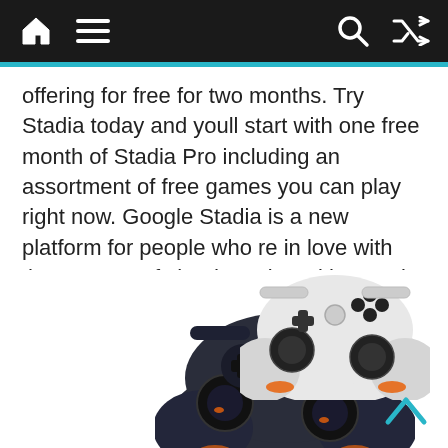Navigation bar with home, menu, search, and shuffle icons
offering for free for two months. Try Stadia today and youll start with one free month of Stadia Pro including an assortment of free games you can play right now. Google Stadia is a new platform for people who re in love with the concept of cloud gamingWith Google Stadia you can enjoy high-quality 4K games with little to no specifications on your PC or laptop.
Although Destiny 2 is a.
[Figure (photo): Two Google Stadia game controllers — one dark navy/black with orange accents, one white with orange accents — shown at the bottom of the page]